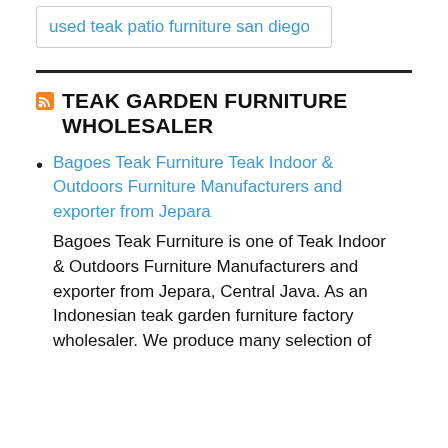used teak patio furniture san diego
TEAK GARDEN FURNITURE WHOLESALER
Bagoes Teak Furniture Teak Indoor & Outdoors Furniture Manufacturers and exporter from Jepara
Bagoes Teak Furniture is one of Teak Indoor & Outdoors Furniture Manufacturers and exporter from Jepara, Central Java. As an Indonesian teak garden furniture factory wholesaler. We produce many selection of